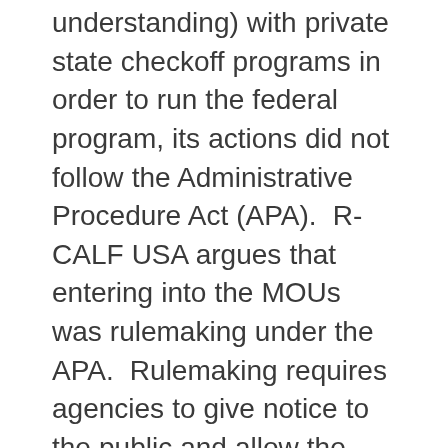understanding) with private state checkoff programs in order to run the federal program, its actions did not follow the Administrative Procedure Act (APA).  R-CALF USA argues that entering into the MOUs was rulemaking under the APA.  Rulemaking requires agencies to give notice to the public and allow the public to comment on the rule or amendment to the rule.  Since USDA did not follow the notice and commenting procedures when entering into the MOUs, R-CALF USA contends that the MOUs violate the APA.  R-